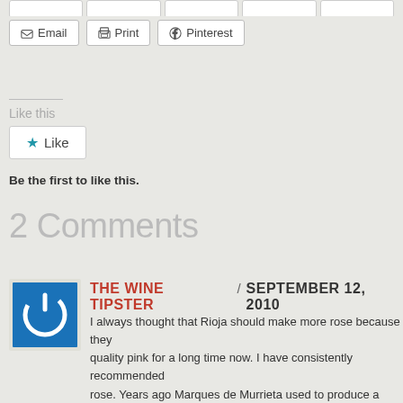[Figure (screenshot): Partial share buttons row at top of page (clipped), showing truncated social media sharing buttons]
Email
Print
Pinterest
Like this
[Figure (screenshot): Like button with blue star icon]
Be the first to like this.
2 Comments
[Figure (logo): Blue square icon with white power/on button symbol for The Wine Tipster avatar]
THE WINE TIPSTER / SEPTEMBER 12, 2010
I always thought that Rioja should make more rose because they quality pink for a long time now. I have consistently recommended rose. Years ago Marques de Murrieta used to produce a traditiona which was a real favourite of mine.
The Wine Tipster.